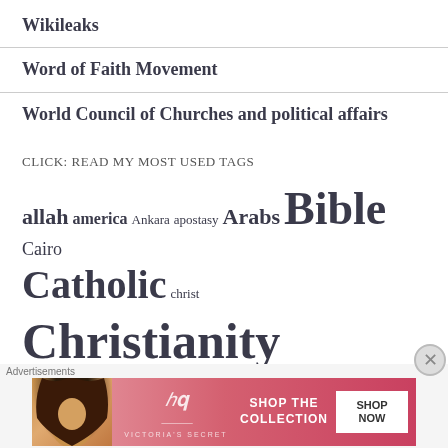Wikileaks
Word of Faith Movement
World Council of Churches and political affairs
CLICK: READ MY MOST USED TAGS
allah america Ankara apostasy Arabs Bible Cairo Catholic christ Christianity Church CIA Damascus Egypt England EU faith
[Figure (screenshot): Victoria's Secret advertisement banner with model, VS logo, 'SHOP THE COLLECTION' text and 'SHOP NOW' button]